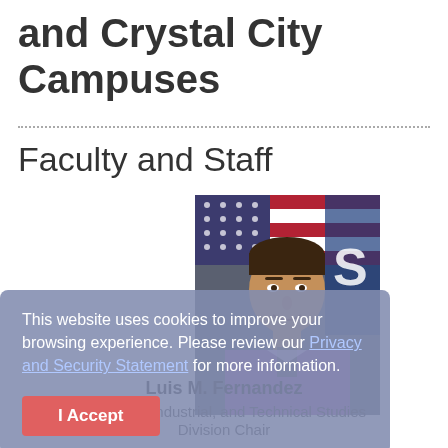and Crystal City Campuses
Faculty and Staff
[Figure (photo): Portrait photo of Luis M. Fernandez in front of an American flag, wearing a purple shirt]
Luis M. Fernandez
Business, Industrial, and Technical Studies
Division Chair
Email
(830) 591-7304
This website uses cookies to improve your browsing experience. Please review our Privacy and Security Statement for more information.
I Accept